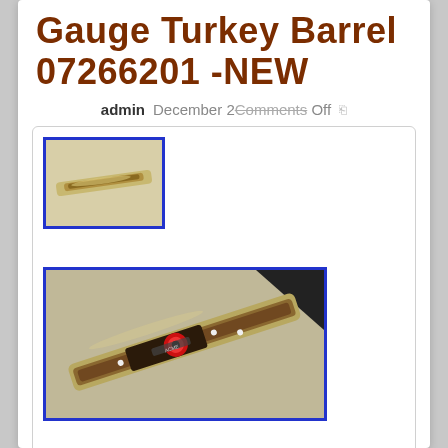Gauge Turkey Barrel 07266201 -NEW
admin   December 2   Comments Off
[Figure (photo): Thumbnail photo of a turkey barrel (shotgun barrel) with blue border]
[Figure (photo): Larger photo of a turkey barrel (shotgun barrel with scope/sights and branded markings) with blue border, angled diagonally]